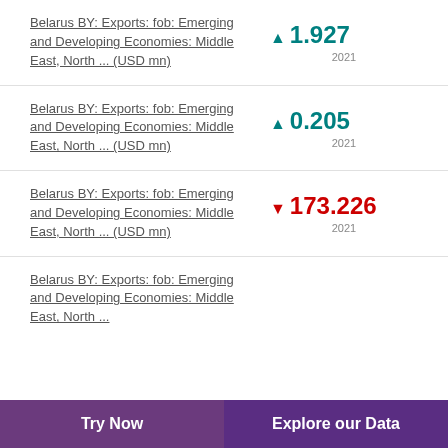Belarus BY: Exports: fob: Emerging and Developing Economies: Middle East, North ... (USD mn) | ▲ 1.927 | 2021
Belarus BY: Exports: fob: Emerging and Developing Economies: Middle East, North ... (USD mn) | ▲ 0.205 | 2021
Belarus BY: Exports: fob: Emerging and Developing Economies: Middle East, North ... (USD mn) | ▼ 173.226 | 2021
Belarus BY: Exports: fob: Emerging and Developing Economies: Middle East, North ... (USD mn)
Try Now | Explore our Data